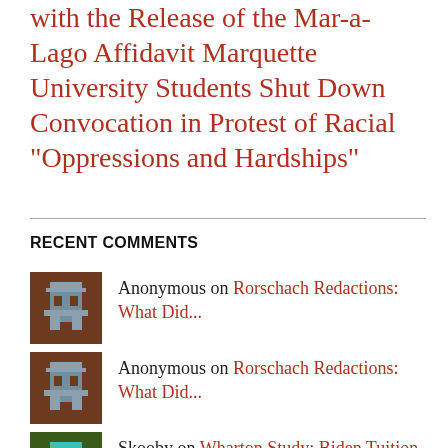with the Release of the Mar-a-Lago Affidavit Marquette University Students Shut Down Convocation in Protest of Racial "Oppressions and Hardships"
RECENT COMMENTS
Anonymous on Rorschach Redactions: What Did...
Anonymous on Rorschach Redactions: What Did...
Skooby on Wharton Study: Biden Tuition D...